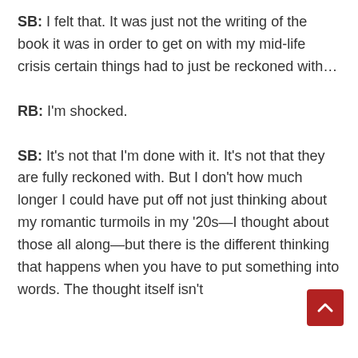SB: I felt that. It was just not the writing of the book it was in order to get on with my mid-life crisis certain things had to just be reckoned with…
RB: I'm shocked.
SB: It's not that I'm done with it. It's not that they are fully reckoned with. But I don't how much longer I could have put off not just thinking about my romantic turmoils in my '20s—I thought about those all along—but there is the different thinking that happens when you have to put something into words. The thought itself isn't